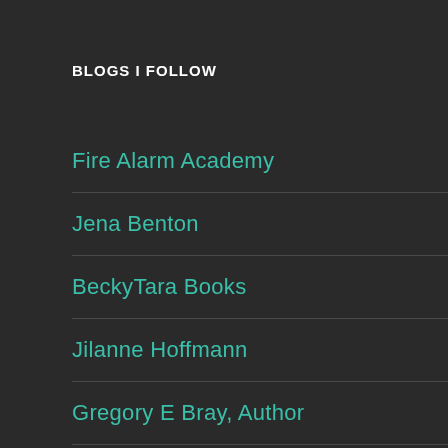BLOGS I FOLLOW
Fire Alarm Academy
Jena Benton
BeckyTara Books
Jilanne Hoffmann
Gregory E Bray, Author
Angie Karcher
never shushed